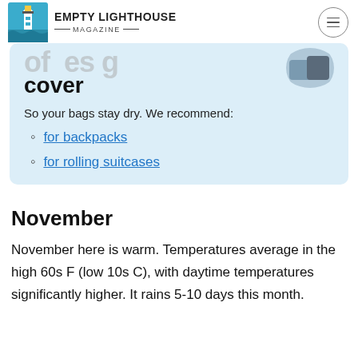EMPTY LIGHTHOUSE MAGAZINE
cover
So your bags stay dry. We recommend:
for backpacks
for rolling suitcases
November
November here is warm. Temperatures average in the high 60s F (low 10s C), with daytime temperatures significantly higher. It rains 5-10 days this month.